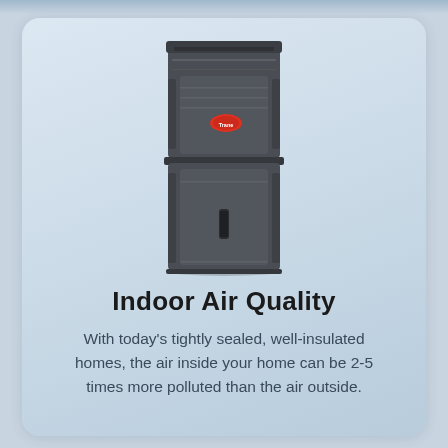[Figure (photo): A tall dark-grey Trane indoor air handler / HVAC unit with a red Trane logo badge on the front, shown against a light background.]
Indoor Air Quality
With today's tightly sealed, well-insulated homes, the air inside your home can be 2-5 times more polluted than the air outside.